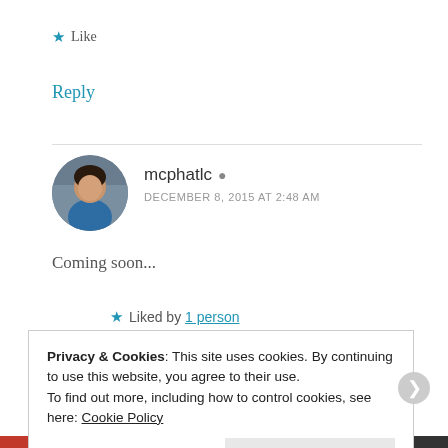★ Like
Reply
mcphatlc
DECEMBER 8, 2015 AT 2:48 AM
[Figure (photo): Circular avatar photo of a person in a blue top]
Coming soon...
★ Liked by 1 person
Privacy & Cookies: This site uses cookies. By continuing to use this website, you agree to their use.
To find out more, including how to control cookies, see here: Cookie Policy
Close and accept